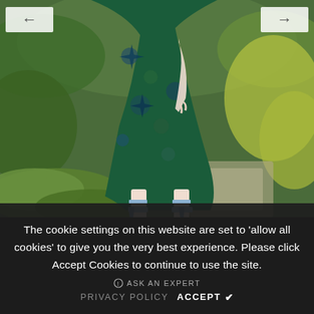[Figure (photo): A person wearing a green floral brocade midi dress and light blue strappy heeled sandals, standing in a lush garden with hostas, purple flowers, and yellow-green foliage.]
The cookie settings on this website are set to 'allow all cookies' to give you the very best experience. Please click Accept Cookies to continue to use the site.
ASK AN EXPERT
PRIVACY POLICY    ACCEPT  ✔